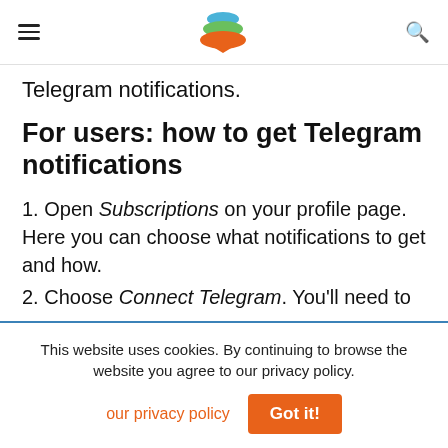Telegram notifications.
For users: how to get Telegram notifications
1. Open Subscriptions on your profile page. Here you can choose what notifications to get and how.
2. Choose Connect Telegram. You'll need to
This website uses cookies. By continuing to browse the website you agree to our privacy policy.